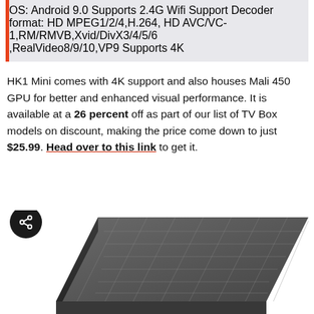OS: Android 9.0
Supports 2.4G Wifi
Support Decoder format: HD MPEG1/2/4,H.264, HD AVC/VC-1,RM/RMVB,Xvid/DivX3/4/5/6,RealVideo8/9/10,VP9
Supports 4K
HK1 Mini comes with 4K support and also houses Mali 450 GPU for better and enhanced visual performance. It is available at a 26 percent off as part of our list of TV Box models on discount, making the price come down to just $25.99. Head over to this link to get it.
[Figure (photo): Dark gray HK1 Mini TV Box device photographed from above at an angle, showing a textured geometric pattern on the top surface]